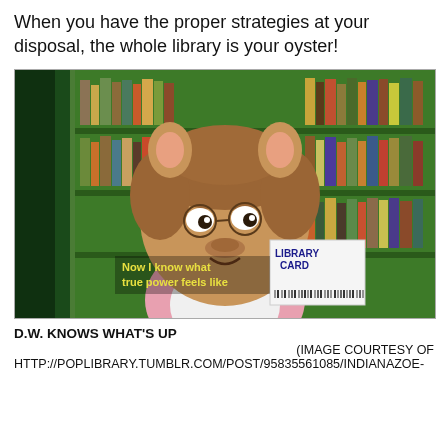When you have the proper strategies at your disposal, the whole library is your oyster!
[Figure (illustration): Animated cartoon character D.W. from Arthur holding a library card with text 'Now I know what true power feels like' and 'LIBRARY CARD', set in a library with green bookshelves in the background.]
D.W. KNOWS WHAT'S UP
(IMAGE COURTESY OF HTTP://POPLIBRARY.TUMBLR.COM/POST/95835561085/INDIANAZOE-